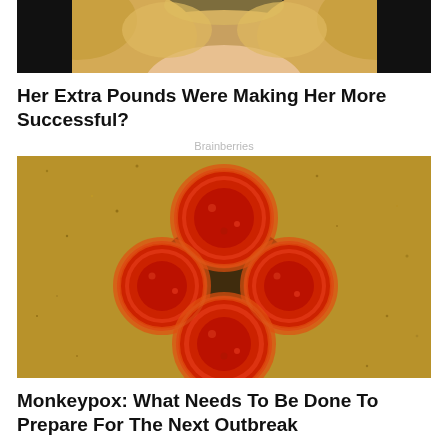[Figure (photo): Close-up photo of a blonde woman's face and hair against a dark background]
Her Extra Pounds Were Making Her More Successful?
Brainberries
[Figure (photo): Electron microscope image of monkeypox virus particles — round red orbs clustered together on a gold/brown speckled background]
Monkeypox: What Needs To Be Done To Prepare For The Next Outbreak